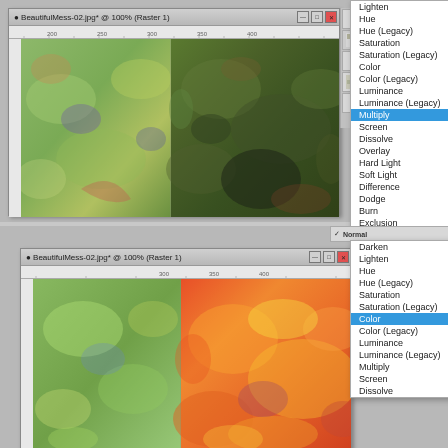[Figure (screenshot): Photoshop window showing BeautifulMess-02.jpg at 100% (Raster 1) with colorful abstract texture image, alongside a layer blend mode dropdown menu with 'Multiply' highlighted in blue. Visible blend modes include: Lighten, Hue, Hue (Legacy), Saturation, Saturation (Legacy), Color, Color (Legacy), Luminance, Luminance (Legacy), Multiply (selected), Screen, Dissolve, Overlay, Hard Light, Soft Light, Difference, Dodge, Burn, Exclusion.]
[Figure (screenshot): Photoshop window showing BeautifulMess-02.jpg at 100% (Raster 1) with colorful abstract texture image showing warm red/yellow/orange tones, alongside a layer blend mode dropdown menu with 'Color' highlighted in blue. Visible blend modes include: Normal (checked), Darken, Lighten, Hue, Hue (Legacy), Saturation, Saturation (Legacy), Color (selected), Color (Legacy), Luminance, Luminance (Legacy), Multiply, Screen, Dissolve.]